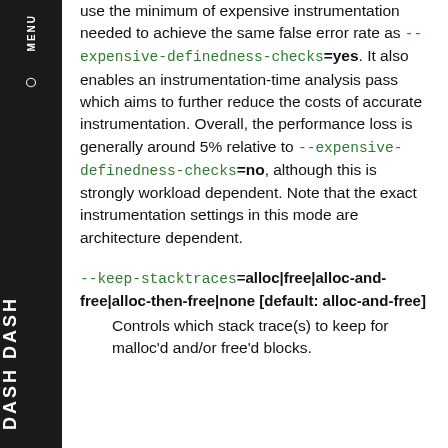use the minimum of expensive instrumentation needed to achieve the same false error rate as --expensive-definedness-checks=yes. It also enables an instrumentation-time analysis pass which aims to further reduce the costs of accurate instrumentation. Overall, the performance loss is generally around 5% relative to --expensive-definedness-checks=no, although this is strongly workload dependent. Note that the exact instrumentation settings in this mode are architecture dependent.
--keep-stacktraces=alloc|free|alloc-and-free|alloc-then-free|none [default: alloc-and-free]
Controls which stack trace(s) to keep for malloc'd and/or free'd blocks.